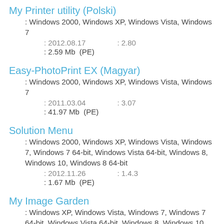My Printer utility (Polski)
: Windows 2000, Windows XP, Windows Vista, Windows 7
: 2012.08.17   : 2.80
: 2.59 Mb  (PE)
Easy-PhotoPrint EX (Magyar)
: Windows 2000, Windows XP, Windows Vista, Windows 7
: 2011.03.04   : 3.07
: 41.97 Mb  (PE)
Solution Menu
: Windows 2000, Windows XP, Windows Vista, Windows 7, Windows 7 64-bit, Windows Vista 64-bit, Windows 8, Windows 10, Windows 8 64-bit
: 2012.11.26   : 1.4.3
: 1.67 Mb  (PE)
My Image Garden
: Windows XP, Windows Vista, Windows 7, Windows 7 64-bit, Windows Vista 64-bit, Windows 8, Windows 10, Windows 8 64-bit